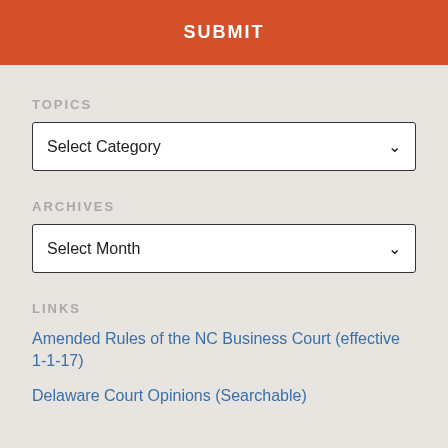SUBMIT
TOPICS
Select Category
ARCHIVES
Select Month
LINKS
Amended Rules of the NC Business Court (effective 1-1-17)
Delaware Court Opinions (Searchable)